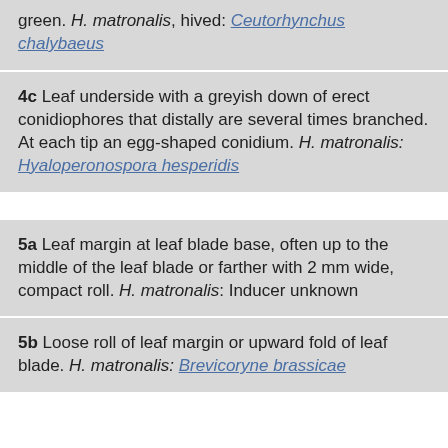green. H. matronalis, hived: Ceutorhynchus chalybaeus
4c Leaf underside with a greyish down of erect conidiophores that distally are several times branched. At each tip an egg-shaped conidium. H. matronalis: Hyaloperonospora hesperidis
5a Leaf margin at leaf blade base, often up to the middle of the leaf blade or farther with 2 mm wide, compact roll. H. matronalis: Inducer unknown
5b Loose roll of leaf margin or upward fold of leaf blade. H. matronalis: Brevicoryne brassicae